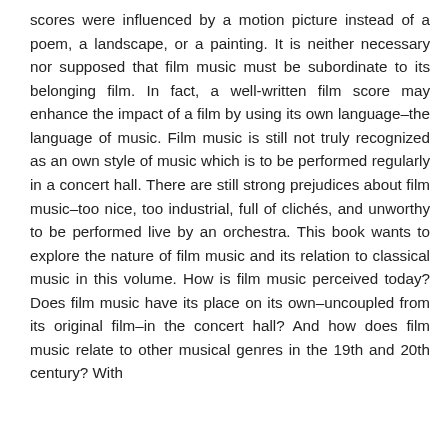scores were influenced by a motion picture instead of a poem, a landscape, or a painting. It is neither necessary nor supposed that film music must be subordinate to its belonging film. In fact, a well-written film score may enhance the impact of a film by using its own language–the language of music. Film music is still not truly recognized as an own style of music which is to be performed regularly in a concert hall. There are still strong prejudices about film music–too nice, too industrial, full of clichés, and unworthy to be performed live by an orchestra. This book wants to explore the nature of film music and its relation to classical music in this volume. How is film music perceived today? Does film music have its place on its own–uncoupled from its original film–in the concert hall? And how does film music relate to other musical genres in the 19th and 20th century? With